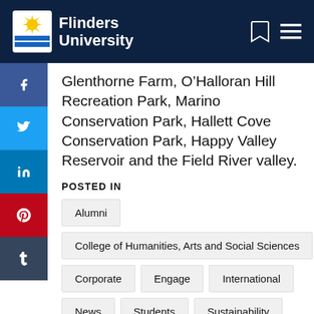Flinders University
Glenthorne Farm, O’Halloran Hill Recreation Park, Marino Conservation Park, Hallett Cove Conservation Park, Happy Valley Reservoir and the Field River valley.
POSTED IN
Alumni
College of Humanities, Arts and Social Sciences
Corporate
Engage
International
News
Students
Sustainability
Teaching and learning
Uncategorized